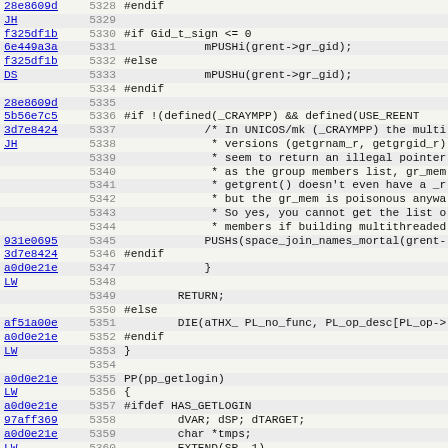| hash | line | code |
| --- | --- | --- |
| 28e8609d | 5328 | #endif |
| JH | 5329 |  |
| f325df1b | 5330 | #if Gid_t_sign <= 0 |
| 6e449a3a | 5331 |         mPUSHi(grent->gr_gid); |
| f325df1b | 5332 | #else |
| DS | 5333 |         mPUSHu(grent->gr_gid); |
|  | 5334 | #endif |
| 28e8609d | 5335 |  |
| 5b56e7c5 | 5336 | #if !(defined(_CRAYMPP) && defined(USE_REENT |
| 3d7e8424 | 5337 |         /* In UNICOS/mk (_CRAYMPP) the multi |
| JH | 5338 |          * versions (getgrnam_r, getgrgid_r) |
|  | 5339 |          * seem to return an illegal pointer |
|  | 5340 |          * as the group members list, gr_mem |
|  | 5341 |          * getgrent() doesn't even have a _r |
|  | 5342 |          * but the gr_mem is poisonous anywa |
|  | 5343 |          * So yes, you cannot get the list o |
|  | 5344 |          * members if building multithreaded |
| 931e0695 | 5345 |         PUSHs(space_join_names_mortal(grent- |
| 3d7e8424 | 5346 | #endif |
| a0d0e21e | 5347 |         } |
| LW | 5348 |  |
|  | 5349 |         RETURN; |
|  | 5350 | #else |
| af51a00e | 5351 |         DIE(aTHX_ PL_no_func, PL_op_desc[PL_op-> |
| a0d0e21e | 5352 | #endif |
| LW | 5353 | } |
|  | 5354 |  |
| a0d0e21e | 5355 | PP(pp_getlogin) |
| LW | 5356 | { |
| a0d0e21e | 5357 | #ifdef HAS_GETLOGIN |
| 97aff369 | 5358 |         dVAR; dSP; dTARGET; |
| a0d0e21e | 5359 |         char *tmps; |
| LW | 5360 |         EXTEND(SP, 1) |